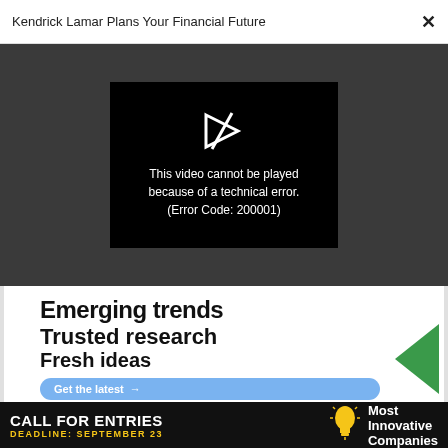Kendrick Lamar Plans Your Financial Future  ✕
[Figure (screenshot): Black video player box showing error: 'This video cannot be played because of a technical error. (Error Code: 200001)' with a broken play icon above the text, on a dark gray background.]
[Figure (infographic): Advertisement with large bold text: 'Emerging trends / Trusted research / Fresh ideas' with a blue 'Get the latest →' button and a green geometric triangle shape on the right side.]
[Figure (infographic): Bottom banner ad: 'CALL FOR ENTRIES DEADLINE: SEPTEMBER 23' with a lightbulb icon and 'Most Innovative Companies' text on dark background. Has a close X button.]